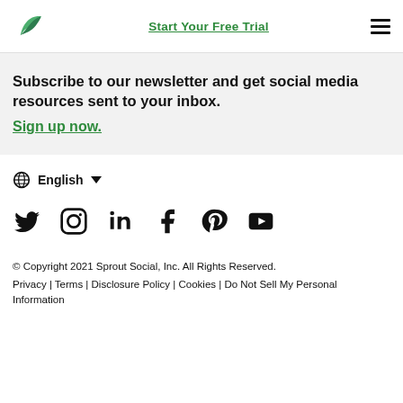Start Your Free Trial
Subscribe to our newsletter and get social media resources sent to your inbox. Sign up now.
English
[Figure (other): Social media icons: Twitter, Instagram, LinkedIn, Facebook, Pinterest, YouTube]
© Copyright 2021 Sprout Social, Inc. All Rights Reserved. Privacy | Terms | Disclosure Policy | Cookies | Do Not Sell My Personal Information